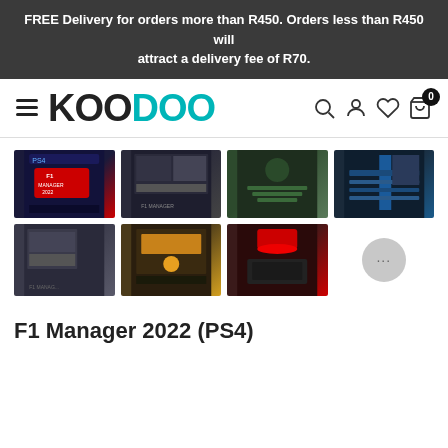FREE Delivery for orders more than R450. Orders less than R450 will attract a delivery fee of R70.
[Figure (logo): Koodoo e-commerce website navigation bar with hamburger menu, KOODOO logo (KOO in black, DOO in teal), search icon, user icon, heart/wishlist icon, and cart icon with badge showing 0]
[Figure (photo): Grid of 7 product thumbnails showing F1 Manager 2022 PS4 game — box art and in-game screenshots including race management screens, pit lane, Ferrari garage, and race track aerial view]
F1 Manager 2022 (PS4)